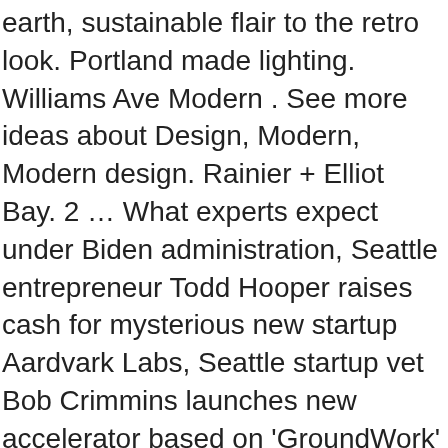earth, sustainable flair to the retro look. Portland made lighting. Williams Ave Modern . See more ideas about Design, Modern, Modern design. Rainier + Elliot Bay. 2 … What experts expect under Biden administration, Seattle entrepreneur Todd Hooper raises cash for mysterious new startup Aardvark Labs, Seattle startup vet Bob Crimmins launches new accelerator based on 'GroundWork' methodology, Amazon will host a pop-up COVID-19 vaccination clinic at its headquarters in Seattle, Federal judge cites U.S. Capitol breach in denial of Parler's initial motion for reinstatement on AWS, WTIA names 22 Washington tech startups selected for latest Founder Cohort Program, Amazon's Halo tests the limits of personal privacy, and offers a glimpse of the future of health, Microsoft, Apple, Auth0 vets raise $3.3M for Seattle software integration startup Fusebit,